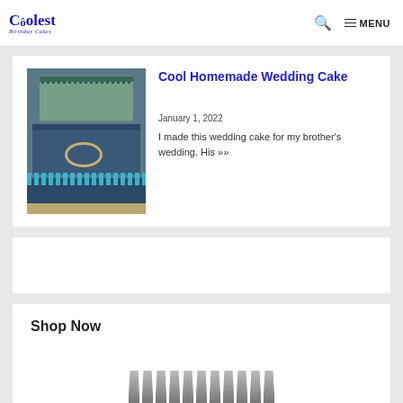Coolest Birthday Cakes — MENU
[Figure (photo): A multi-tier homemade wedding cake with teal/blue fondant decorations, pearl borders, and a decorative ring]
Cool Homemade Wedding Cake
January 1, 2022
I made this wedding cake for my brother's wedding.  His »»
Shop Now
[Figure (photo): Piping tips / cake decorating nozzles shown at bottom of page]